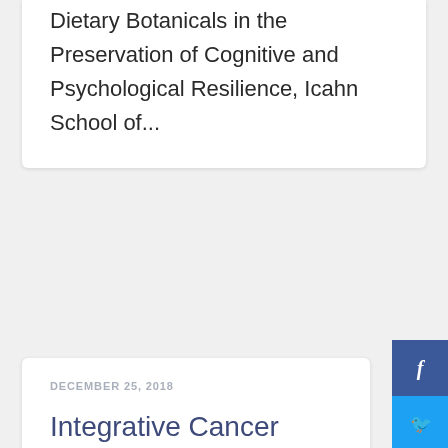Dietary Botanicals in the Preservation of Cognitive and Psychological Resilience, Icahn School of...
DECEMBER 25, 2018
Integrative Cancer Care Options: In Depth
NIH and The National Center for Complementary and Integrative Health have produced a collection of...